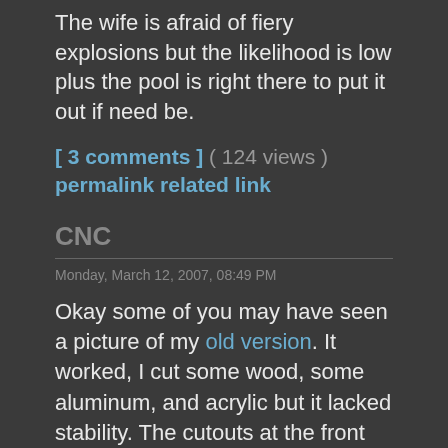The wife is afraid of fiery explosions but the likelihood is low plus the pool is right there to put it out if need be.
[ 3 comments ] ( 124 views )
permalink related link
CNC
Monday, March 12, 2007, 08:49 PM
Okay some of you may have seen a picture of my old version. It worked, I cut some wood, some aluminum, and acrylic but it lacked stability. The cutouts at the front caused the frame to flex under high stress and/or speed causing my cuts to be out of line. I just happened to have laying around a giant box made from bosch extruded aluminum (it was borrowed from previous